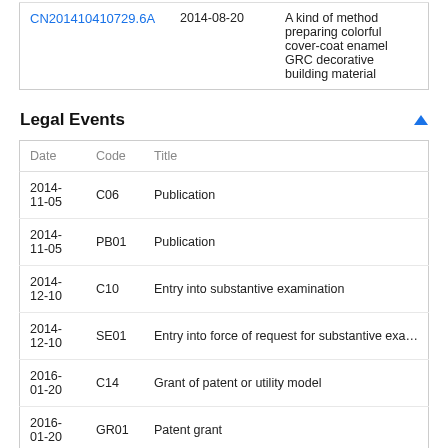|  | Date | Title |
| --- | --- | --- |
| CN201410410729.6A | 2014-08-20 | A kind of method preparing colorful cover-coat enamel GRC decorative building material |
Legal Events
| Date | Code | Title |
| --- | --- | --- |
| 2014-11-05 | C06 | Publication |
| 2014-11-05 | PB01 | Publication |
| 2014-12-10 | C10 | Entry into substantive examination |
| 2014-12-10 | SE01 | Entry into force of request for substantive exa… |
| 2016-01-20 | C14 | Grant of patent or utility model |
| 2016-01-20 | GR01 | Patent grant |
| 2016-10-12 | EE01 | Entry into force of recordation of patent licen… |